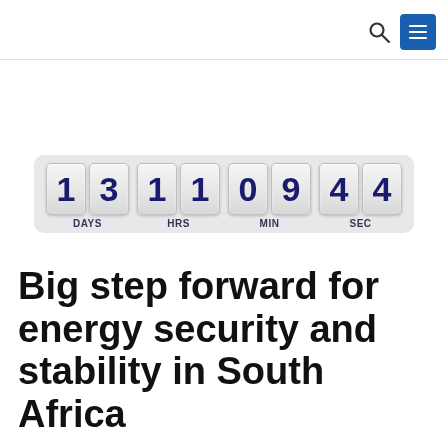[navigation header with search and menu icons]
[Figure (other): Countdown timer display showing 13 DAYS, 11 HRS, 09 MIN, 44 SEC in flip-clock style digit boxes on a light grey background]
Big step forward for energy security and stability in South Africa
02 Dec 2021